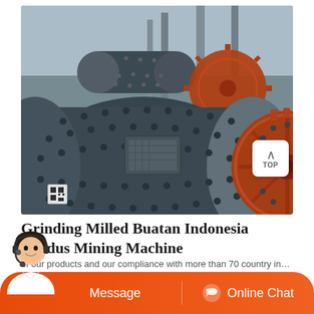[Figure (photo): Large industrial ball mill grinding machine with dark metal cylindrical drum studded with bolts, and a large orange/red gear wheel visible on the right side. Industrial facility setting with steel framework in the background.]
Grinding Milled Buatan Indonesia Exodus Mining Machine
Message   Online Chat
of our products and our compliance with more than 70 country indi...